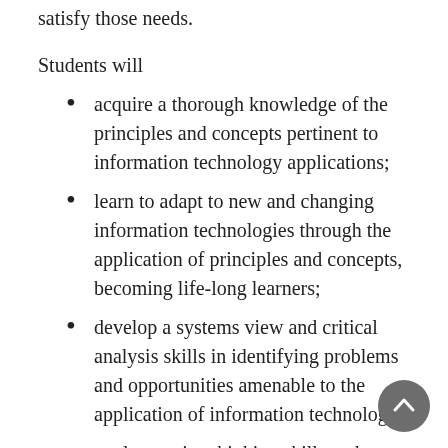designing and implementing effective systems to satisfy those needs.
Students will
acquire a thorough knowledge of the principles and concepts pertinent to information technology applications;
learn to adapt to new and changing information technologies through the application of principles and concepts, becoming life-long learners;
develop a systems view and critical analysis skills in identifying problems and opportunities amenable to the application of information technology;
apply creative thinking skills and systems design methods in developing information technology-based systems;
understand the human, organizational, and technical issues involved in implementing